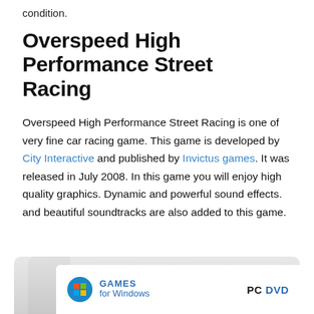condition.
Overspeed High Performance Street Racing
Overspeed High Performance Street Racing is one of very fine car racing game. This game is developed by City Interactive and published by Invictus games. It was released in July 2008. In this game you will enjoy high quality graphics. Dynamic and powerful sound effects. and beautiful soundtracks are also added to this game.
[Figure (photo): Games for Windows PC DVD box label with Windows logo]